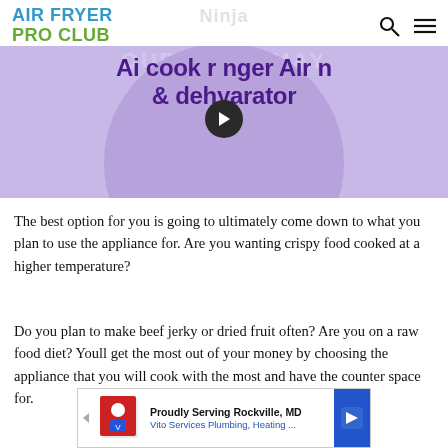AIR FRYER PRO CLUB
[Figure (photo): Purple/lavender background image with bold dark purple text reading 'Air cook r nger Air n & dehydarator' partially obscured by a circular play button overlay. Faded 'Ninja' branding watermark visible in background.]
The best option for you is going to ultimately come down to what you plan to use the appliance for. Are you wanting crispy food cooked at a higher temperature?
Do you plan to make beef jerky or dried fruit often? Are you on a raw food diet? Youll get the most out of your money by choosing the appliance that you will cook with the most and have the counter space for.
[Figure (infographic): Advertisement banner for Vito Services Plumbing, Heating... reading 'Proudly Serving Rockville, MD' in bold black text with blue subtitle. Features a blue arrow icon on the right and a figure/logo icon on the left.]